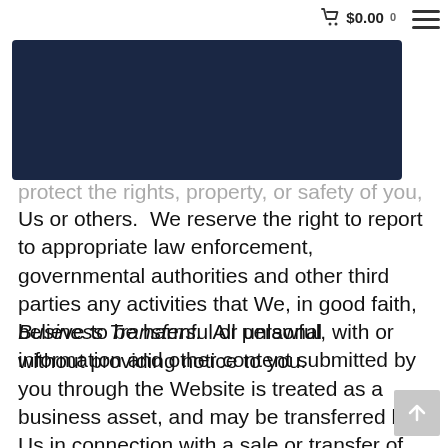$0.00 0
protect the rights, property, or safety of you, Us or others.  We reserve the right to report to appropriate law enforcement, governmental authorities and other third parties any activities that We, in good faith, believe to be harmful or unlawful, with or without providing notice to you.
Business Transfers.  All personal information and other content submitted by you through the Website is treated as a business asset, and may be transferred by Us in connection with a sale or transfer of Our business or assets, including as the result of a merger, acquisition, reorganization, dissolution or liquidation.